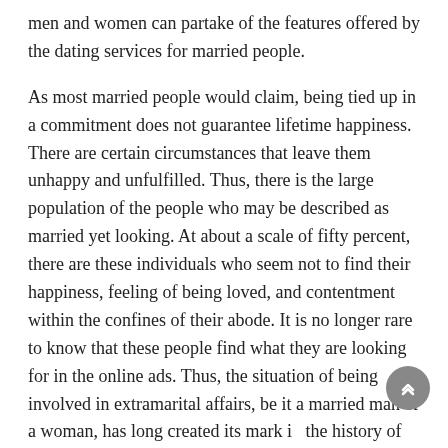men and women can partake of the features offered by the dating services for married people.
As most married people would claim, being tied up in a commitment does not guarantee lifetime happiness. There are certain circumstances that leave them unhappy and unfulfilled. Thus, there is the large population of the people who may be described as married yet looking. At about a scale of fifty percent, there are these individuals who seem not to find their happiness, feeling of being loved, and contentment within the confines of their abode. It is no longer rare to know that these people find what they are looking for in the online ads. Thus, the situation of being involved in extramarital affairs, be it a married man or a woman, has long created its mark in the history of mankind.
The following reasons suggest why the dating services